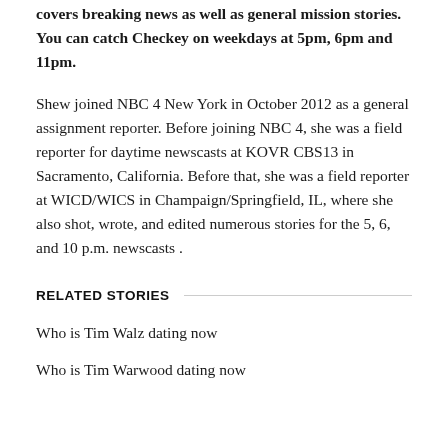covers breaking news as well as general mission stories. You can catch Checkey on weekdays at 5pm, 6pm and 11pm.
Shew joined NBC 4 New York in October 2012 as a general assignment reporter. Before joining NBC 4, she was a field reporter for daytime newscasts at KOVR CBS13 in Sacramento, California. Before that, she was a field reporter at WICD/WICS in Champaign/Springfield, IL, where she also shot, wrote, and edited numerous stories for the 5, 6, and 10 p.m. newscasts .
RELATED STORIES
Who is Tim Walz dating now
Who is Tim Warwood dating now